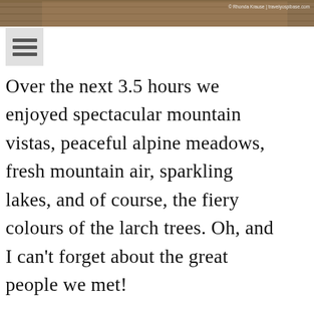[Figure (photo): Top portion of a photo showing wooden deck boards with what appears to be a red-jacketed figure, with photo credit 'Rhonda Krause | travelyospibase.com']
[Figure (other): Hamburger/menu icon with three horizontal bars on a light grey background]
Over the next 3.5 hours we enjoyed spectacular mountain vistas, peaceful alpine meadows, fresh mountain air, sparkling lakes, and of course, the fiery colours of the larch trees. Oh, and I can't forget about the great people we met!
[Figure (photo): Bottom partial photo showing a mountain scene with snow-capped peaks under a grey sky and golden larch trees in the foreground]
[Figure (other): Advertisement banner with green background showing a dog and text 'HEAD OVER HEELS']